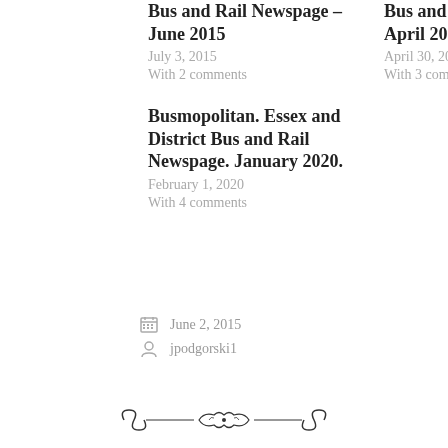Bus and Rail Newspage – June 2015
July 3, 2015
With 2 comments
Bus and Rail News Page. April 2016.
April 30, 2016
With 3 comments
Busmopolitan. Essex and District Bus and Rail Newspage. January 2020.
February 1, 2020
With 4 comments
June 2, 2015
jpodgorski1